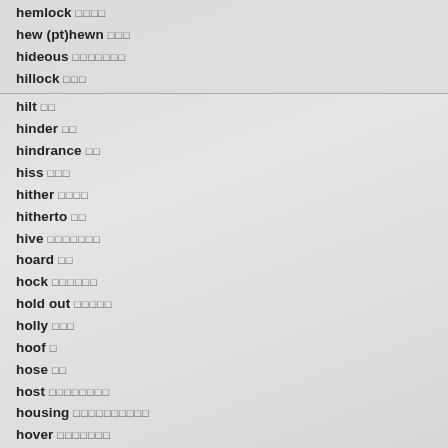hemlock □□□□
hew (pt)hewn □□□
hideous □□□□□□□
hillock □□□
hilt □□
hinder □□
hindrance □□
hiss □□□
hither □□□□
hitherto □□
hive □□□□□□□
hoard □□
hock □□□□□□
hold out □□□□□
holly □□□
hoof □
hose □□
host □□□□□□□□
housing □□□□□□□□□□
hover □□□□□□□
huddle □□□□□□□□□□□□□□
hue □□
huff □□□□□
hug □
hum (□□□□□□)□□□□□□□
hump □□□□